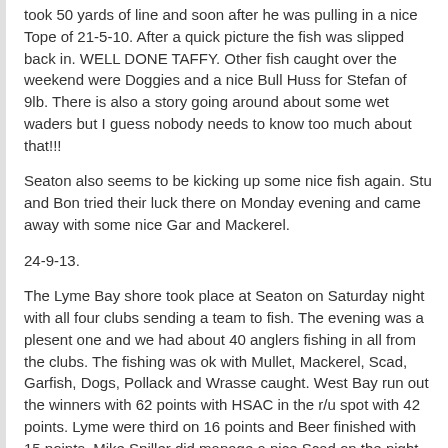took 50 yards of line and soon after he was pulling in a nice Tope of 21-5-10.  After a quick picture the fish was slipped back in.  WELL DONE TAFFY.  Other fish caught over the weekend were Doggies and a nice Bull Huss for Stefan of 9lb.  There is also a story going around about some wet waders but I guess nobody needs to know too much about that!!!
Seaton also seems to be kicking up some nice fish again.  Stu and Bon tried their luck there on Monday evening and came away with some nice Gar and Mackerel.
24-9-13.
The Lyme Bay shore took place at Seaton on Saturday night with all four clubs sending a team to fish.  The evening was a plesent one and we had about 40 anglers fishing in all from the clubs.  The fishing was ok with Mullet, Mackerel, Scad, Garfish, Dogs, Pollack and Wrasse caught.  West Bay run out the winners with 62 points with HSAC in the r/u spot with 42 points.  Lyme were third on 16 points and Beer finished with 15 points.  Mike Spiller did manage a nice Scad on the night which weighed in at 1-4-0.  Dr Kim also had his first Golden Grey capture, I think the weight was around 1-10-0.
It seems a few members have had the trip to the Isle of Wight last weekend.  Si Boeree had a good trip,  he had been looking for a nice Undulate Ray for a while now and this trip he done the work and found a nice Undulate of 12.6lbs.  This was good